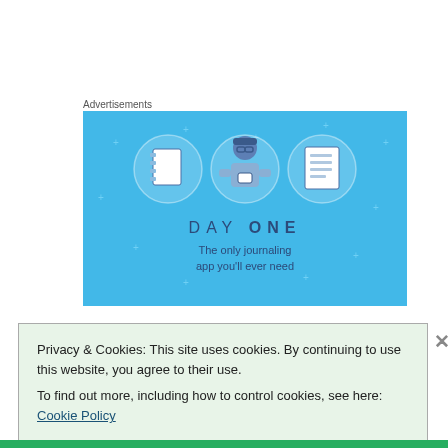Advertisements
[Figure (illustration): Day One app advertisement on blue background showing a person holding a phone with two circular icons (notebook and list) and text: DAY ONE - The only journaling app you'll ever need.]
Privacy & Cookies: This site uses cookies. By continuing to use this website, you agree to their use.
To find out more, including how to control cookies, see here: Cookie Policy
Close and accept